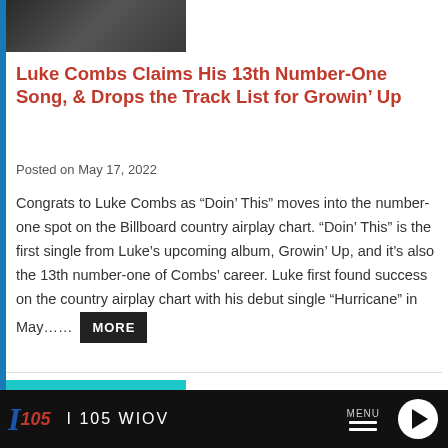[Figure (photo): Partial photo of a person, likely Luke Combs, cropped at top]
Luke Combs Claims His 13th Number-One Song, & Drops the Track List for Growin' Up
Posted on May 17, 2022
Congrats to Luke Combs as “Doin’ This” moves into the number-one spot on the Billboard country airplay chart. “Doin’ This” is the first single from Luke’s upcoming album, Growin’ Up, and it’s also the 13th number-one of Combs’ career. Luke first found success on the country airplay chart with his debut single “Hurricane” in May…… MORE
[Figure (logo): Billboard magazine logo thumbnail with cyan background]
I 105 WIOV  MENU